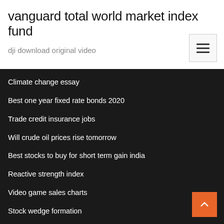vanguard total world market index fund
dji download original video
Climate change essay
Best one year fixed rate bonds 2020
Trade credit insurance jobs
Will crude oil prices rise tomorrow
Best stocks to buy for short term gain india
Reactive strength index
Video game sales charts
Stock wedge formation
Best stocks to buy for short term gain india